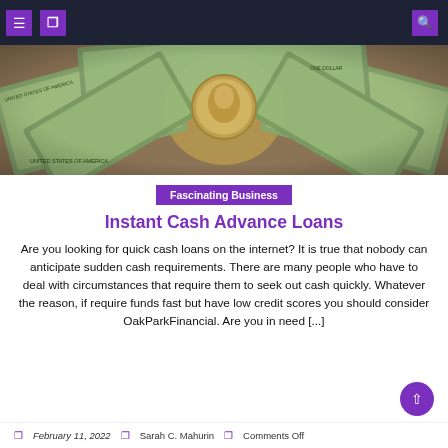Navigation bar with menu icons and search
[Figure (photo): Fan arrangement of US dollar bills spread out in a circular/radial pattern, showing George Washington portraits on one-dollar bills]
Fascinating Business
Instant Cash Advance Loans
Are you looking for quick cash loans on the internet? It is true that nobody can anticipate sudden cash requirements. There are many people who have to deal with circumstances that require them to seek out cash quickly. Whatever the reason, if require funds fast but have low credit scores you should consider OakParkFinancial. Are you in need [...]
February 11, 2022  Sarah C. Mahurin  Comments Off